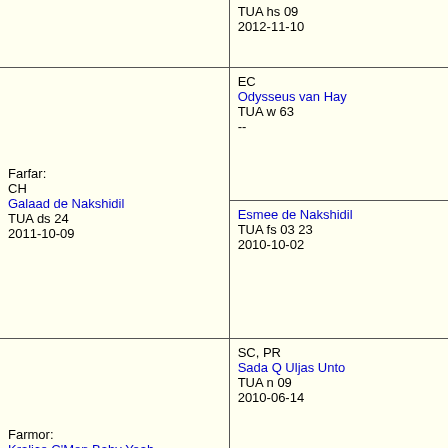| TUA hs 09
2012-11-10 |  |
| Farfar:
CH
Galaad de Nakshidil
TUA ds 24
2011-10-09 | EC
Odysseus van Hay
TUA w 63
-- |
|  | Esmee de Nakshidil
TUA fs 03 23
2010-10-02 |
| Farmor:
Kralice C'Mon Baby Yeah
TUA n 02 62
2011-11-20 | SC, PR
Sada Q Uljas Unto
TUA n 09
2010-06-14 |
|  | IC
Dschadi's Glamour
TUA n 03
2009-12-10 |